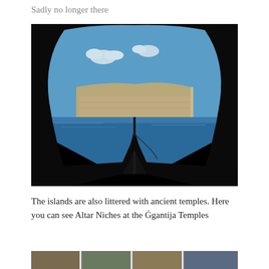Sadly no longer there
[Figure (photo): View from inside a dark cave or grotto looking out through a large natural rock arch opening onto the sea, with dramatic limestone cliffs visible in the distance under a blue sky. A silhouette of a boat bow with a pole is visible in the foreground.]
The islands are also littered with ancient temples. Here you can see Altar Niches at the Ġgantija Temples
[Figure (photo): Partial strip of photos visible at the bottom edge of the page, showing outdoor/nature scenes.]